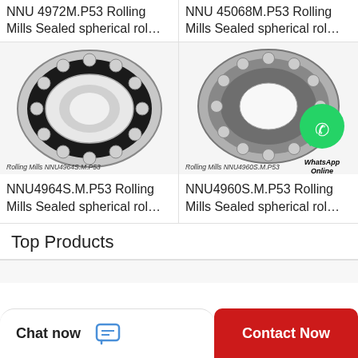[Figure (photo): Sealed spherical roller bearing NNU4964S.M.P53 for Rolling Mills, top view showing ball bearings in ring]
Rolling Mills NNU4964S.M.P53
NNU4964S.M.P53 Rolling Mills Sealed spherical rol…
[Figure (photo): Sealed spherical roller bearing NNU4960S.M.P53 for Rolling Mills with WhatsApp Online badge overlay]
Rolling Mills NNU4960S.M.P53
NNU4960S.M.P53 Rolling Mills Sealed spherical rol…
Top Products
Chat now
Contact Now